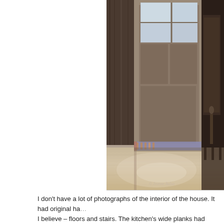[Figure (photo): Interior photograph of a house showing a painted wooden floor in the foreground with a warm beige/cream tone and a subtle sheen. In the background is a door with light coming through window panes above it, dark curtains on the left side, a small patterned rug/mat at the base of the door, and what appears to be an antique piece of furniture on the right. A watermark reading '© Jeanne Balsa' appears in the lower right corner of the photo.]
I don't have a lot of photographs of the interior of the house. It had original ha... I believe – floors and stairs. The kitchen's wide planks had already been paint... settled in, I gave it a new high-gloss paint job. Out the kitchen door was a pati...